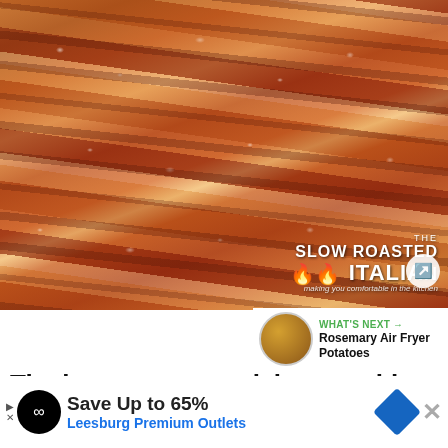[Figure (photo): Close-up photo of strips of bacon cooking on foil, showing glistening fat and meat with bubbles and caramelized color. The Slow Roasted Italian watermark visible in bottom right corner.]
WHAT'S NEXT → Rosemary Air Fryer Potatoes
The best way to cook bacon with little to
Save Up to 65% Leesburg Premium Outlets